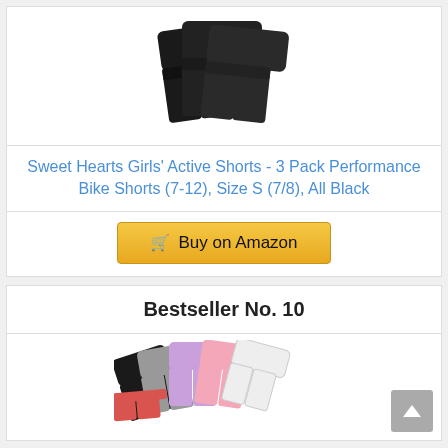[Figure (photo): Three black performance bike shorts overlapping each other on white background]
Sweet Hearts Girls' Active Shorts - 3 Pack Performance Bike Shorts (7-12), Size S (7/8), All Black
Buy on Amazon
Bestseller No. 10
[Figure (photo): Multiple colorful bike shorts in black, grey, purple, pink, white and red colors fanned out on white background]